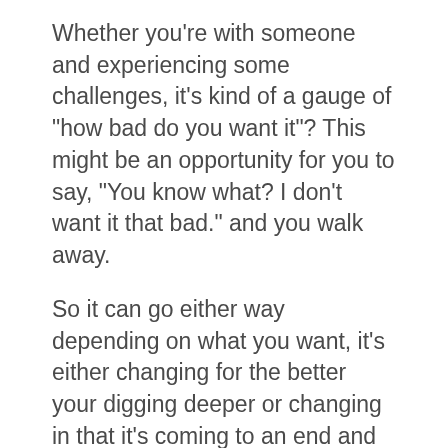Whether you're with someone and experiencing some challenges, it's kind of a gauge of "how bad do you want it"? This might be an opportunity for you to say, "You know what? I don't want it that bad." and you walk away.
So it can go either way depending on what you want, it's either changing for the better your digging deeper or changing in that it's coming to an end and it's time to move on.
If you're single, again it's about overcoming challenges and changing. Opening up to changes in your life that are going to create more opportunities and possibilities